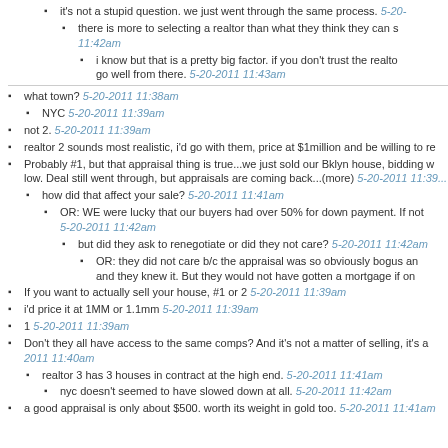it's not a stupid question. we just went through the same process. 5-20-2011
there is more to selecting a realtor than what they think they can s... 11:42am
i know but that is a pretty big factor. if you don't trust the realto... go well from there. 5-20-2011 11:43am
what town? 5-20-2011 11:38am
NYC 5-20-2011 11:39am
not 2. 5-20-2011 11:39am
realtor 2 sounds most realistic, i'd go with them, price at $1million and be willing to re...
Probably #1, but that appraisal thing is true...we just sold our Bklyn house, bidding w... low. Deal still went through, but appraisals are coming back...(more) 5-20-2011 11:39...
how did that affect your sale? 5-20-2011 11:41am
OR: WE were lucky that our buyers had over 50% for down payment. If not... 5-20-2011 11:42am
but did they ask to renegotiate or did they not care? 5-20-2011 11:42am
OR: they did not care b/c the appraisal was so obviously bogus an... and they knew it. But they would not have gotten a mortgage if on...
If you want to actually sell your house, #1 or 2 5-20-2011 11:39am
i'd price it at 1MM or 1.1mm 5-20-2011 11:39am
1 5-20-2011 11:39am
Don't they all have access to the same comps? And it's not a matter of selling, it's a... 2011 11:40am
realtor 3 has 3 houses in contract at the high end. 5-20-2011 11:41am
nyc doesn't seemed to have slowed down at all. 5-20-2011 11:42am
a good appraisal is only about $500. worth its weight in gold too. 5-20-2011 11:41am